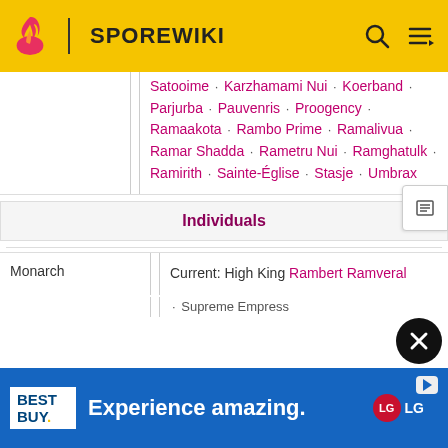SPOREWIKI
Satooime · Karzhamami Nui · Koerband · Parjurba · Pauvenris · Proogency · Ramaakota · Rambo Prime · Ramalivua · Ramar Shadda · Rametru Nui · Ramghatulk · Ramirith · Sainte-Église · Stasje · Umbrax
Individuals
Monarch
Current: High King Rambert Ramveral
• Supreme Empress
[Figure (other): Best Buy advertisement banner: 'Experience amazing.' with LG logo on blue background]